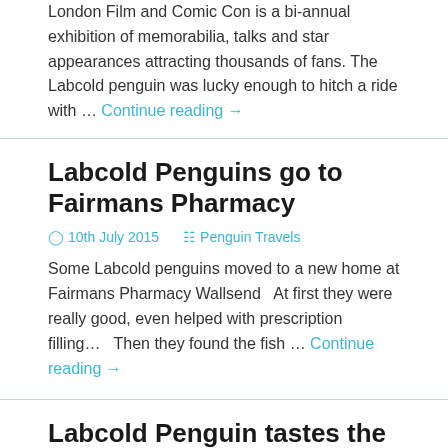London Film and Comic Con is a bi-annual exhibition of memorabilia, talks and star appearances attracting thousands of fans. The Labcold penguin was lucky enough to hitch a ride with … Continue reading →
Labcold Penguins go to Fairmans Pharmacy
🕐 10th July 2015    🗂 Penguin Travels
Some Labcold penguins moved to a new home at Fairmans Pharmacy Wallsend   At first they were really good, even helped with prescription filling…   Then they found the fish … Continue reading →
Labcold Penguin tastes the delights of Berlin
🕐 7th July 2015    🗂 Penguin Travels